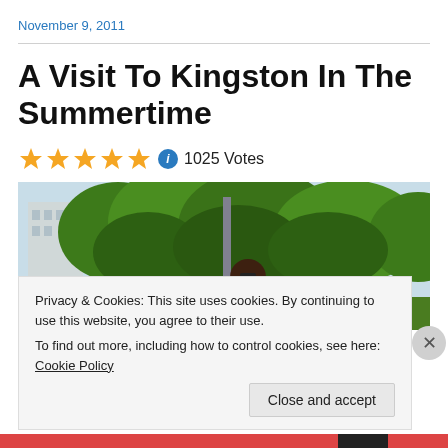November 9, 2011
A Visit To Kingston In The Summertime
★★★★★ ℹ 1025 Votes
[Figure (photo): Outdoor photo of a person standing near trees and a pole in Kingston, summertime]
Privacy & Cookies: This site uses cookies. By continuing to use this website, you agree to their use.
To find out more, including how to control cookies, see here: Cookie Policy
Close and accept